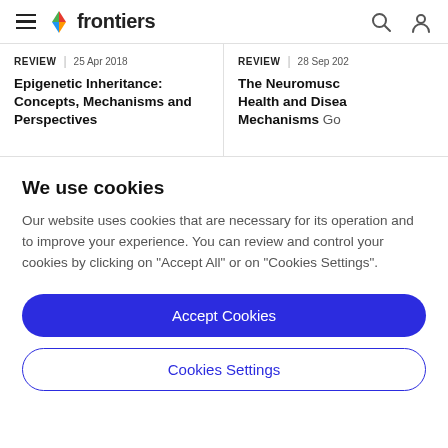frontiers (navigation bar with hamburger menu, logo, search icon, and user icon)
REVIEW | 25 Apr 2018
Epigenetic Inheritance: Concepts, Mechanisms and Perspectives
REVIEW | 28 Sep 202
The Neuromusc Health and Disea Mechanisms Go
We use cookies
Our website uses cookies that are necessary for its operation and to improve your experience. You can review and control your cookies by clicking on "Accept All" or on "Cookies Settings".
Accept Cookies
Cookies Settings